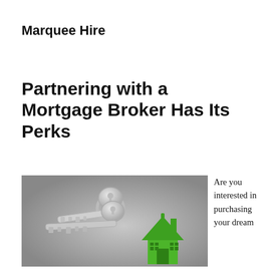Marquee Hire
Partnering with a Mortgage Broker Has Its Perks
[Figure (photo): Two silver house keys on a keyring alongside a green house-shaped keychain, set against a grey gradient background.]
Are you interested in purchasing your dream